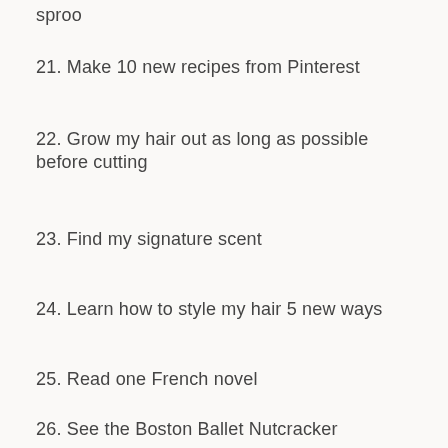sproo
21. Make 10 new recipes from Pinterest
22. Grow my hair out as long as possible before cutting
23. Find my signature scent
24. Learn how to style my hair 5 new ways
25. Read one French novel
26. See the Boston Ballet Nutcracker